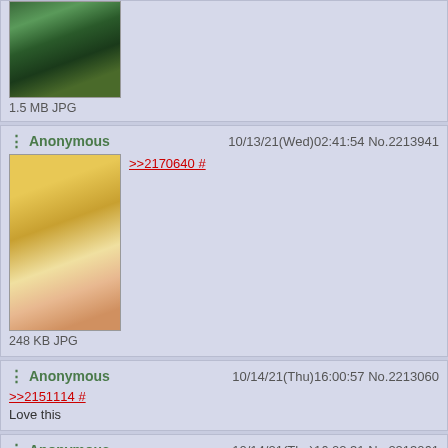[Figure (illustration): Anime character in green outfit, partial top of post]
1.5 MB JPG
Anonymous  10/13/21(Wed)02:41:54 No.2212941
[Figure (illustration): Anime blonde elf girl]
248 KB JPG
>>2170640 #
Anonymous  10/14/21(Thu)16:00:57 No.2213060
>>2151114 #
Love this
Anonymous  10/14/21(Thu)16:02:31 No.2213061
>>2169072 #
Haha awesome